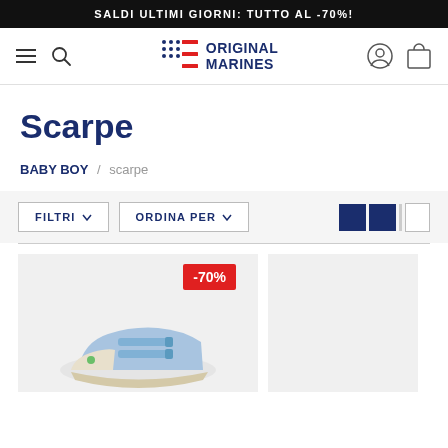SALDI ULTIMI GIORNI: TUTTO AL -70%!
[Figure (logo): Original Marines logo with American flag motif and navigation icons (hamburger menu, search, user, bag)]
Scarpe
BABY BOY / scarpe
FILTRI   ORDINA PER
[Figure (photo): Baby boy light blue canvas sneaker with velcro straps shown on product card with -70% sale badge]